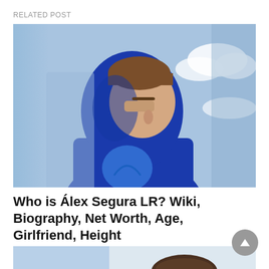RELATED POST
[Figure (photo): A young man wearing a blue hoodie with a logo, photographed from the side against a blue sky with clouds background.]
Who is Álex Segura LR? Wiki, Biography, Net Worth, Age, Girlfriend, Height
[Figure (photo): Bottom partial image showing a person with dark hair against a light background.]